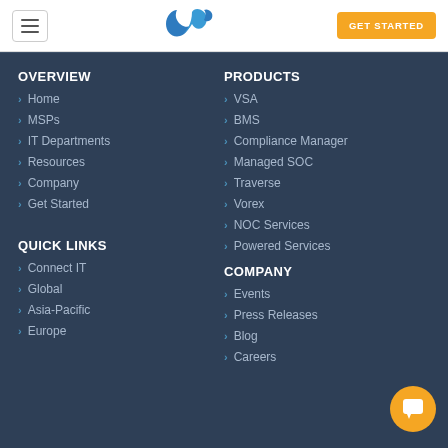[Figure (logo): Kaseya blue leaf logo]
GET STARTED
OVERVIEW
Home
MSPs
IT Departments
Resources
Company
Get Started
PRODUCTS
VSA
BMS
Compliance Manager
Managed SOC
Traverse
Vorex
NOC Services
Powered Services
QUICK LINKS
Connect IT
Global
Asia-Pacific
Europe
COMPANY
Events
Press Releases
Blog
Careers